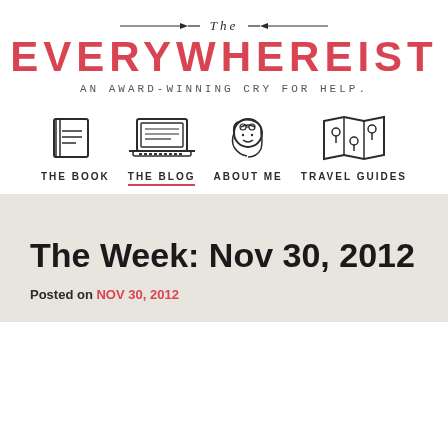The Everywhereist
AN AWARD-WINNING CRY FOR HELP.
[Figure (infographic): Navigation icons row: book icon labeled THE BOOK, laptop icon labeled THE BLOG (active/underlined), face icon labeled ABOUT ME, map icon labeled TRAVEL GUIDES]
The Week: Nov 30, 2012
Posted on NOV 30, 2012